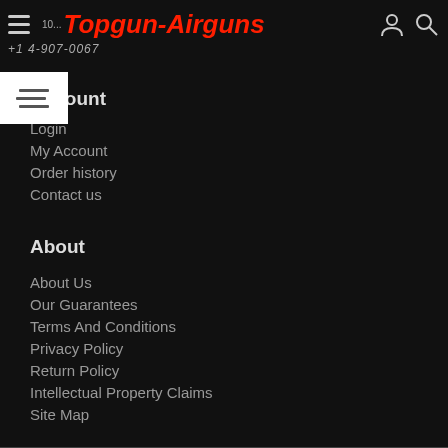Topgun-Airguns | 10... +1 4-907-0067
Account
Login
My Account
Order history
Contact us
About
About Us
Our Guarantees
Terms And Conditions
Privacy Policy
Return Policy
Intellectual Property Claims
Site Map